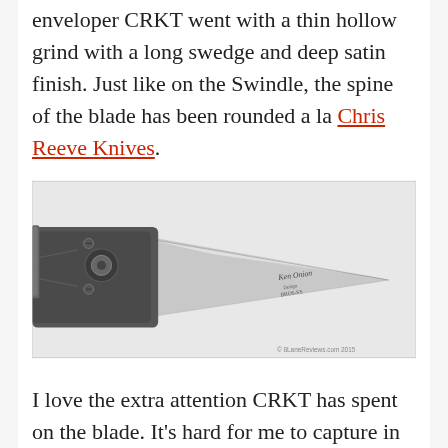enveloper CRKT went with a thin hollow grind with a long swedge and deep satin finish. Just like on the Swindle, the spine of the blade has been rounded a la Chris Reeve Knives.
[Figure (photo): A folding knife open and laid flat against a light grey background. The blade is engraved with 'Ken Onion Design BROS-SS'. The handle is dark grey/black with visible screws and a pivot. A watermark in the lower right reads '© 8LaneReviews.com 2015'.]
I love the extra attention CRKT has spent on the blade. It's hard for me to capture in photos, but this is a beautiful little blade and is perfect for light use. Of course great care